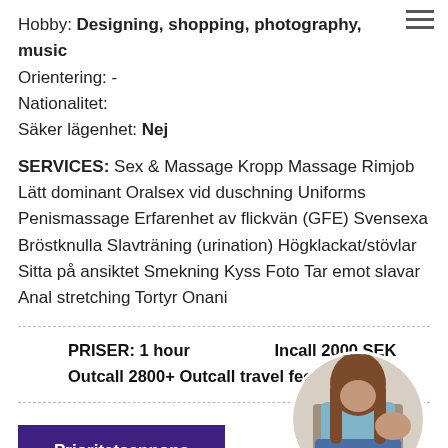Hobby: Designing, shopping, photography, music
Orientering: -
Nationalitet:
Säker lägenhet: Nej
SERVICES: Sex & Massage Kropp Massage Rimjob Lätt dominant Oralsex vid duschning Uniforms Penismassage Erfarenhet av flickvän (GFE) Svensexa Bröstknulla Slavträning (urination) Högklackat/stövlar Sitta på ansiktet Smekning Kyss Foto Tar emot slavar Anal stretching Tortyr Onani
PRISER: 1 hour   Incall 2000 SEK   Outcall 2800+ Outcall travel fee(taxi) S*
Prioritetsannons
[Figure (photo): Circular profile photo of a woman viewed from behind, wearing a light blue top and denim shorts]